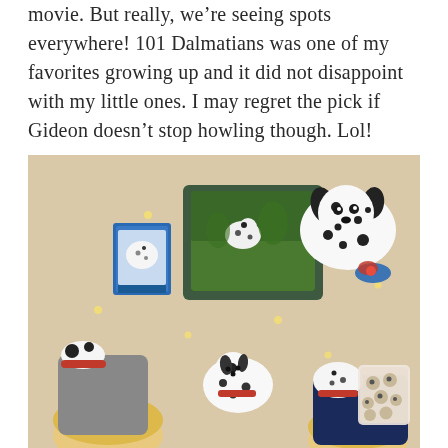movie. But really, we're seeing spots everywhere! 101 Dalmatians was one of my favorites growing up and it did not disappoint with my little ones. I may regret the pick if Gideon doesn't stop howling though. Lol!
[Figure (photo): Overhead view of two young children lying on a beige/cream blanket with string lights, watching 101 Dalmatians on a tablet. They are wearing Dalmatian-themed slippers. A 101 Dalmatians Blu-ray case and Dalmatian stuffed animal toys are also visible on the blanket.]